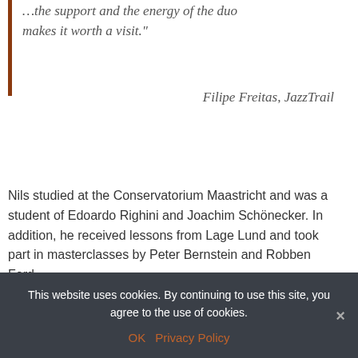...the support and the energy of the duo makes it worth a visit."
Filipe Freitas, JazzTrail
Nils studied at the Conservatorium Maastricht and was a student of Edoardo Righini and Joachim Schönecker. In addition, he received lessons from Lage Lund and took part in masterclasses by Peter Bernstein and Robben Ford.
Here Nils describes his compositions:
Auckland
With this song I tried to turn my experiences and
This website uses cookies. By continuing to use this site, you agree to the use of cookies.
OK  Privacy Policy